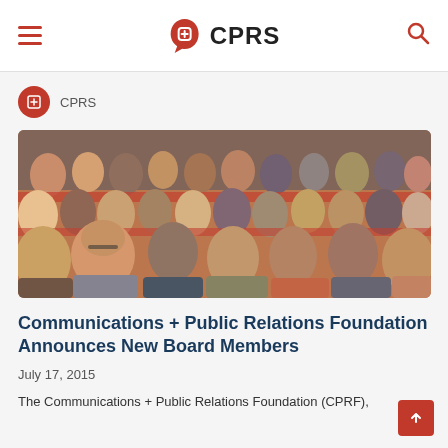CPRS
CPRS
[Figure (photo): A large audience seated in an auditorium, many people visible from behind/side angles, orange seats, diverse crowd attending a conference or presentation.]
Communications + Public Relations Foundation Announces New Board Members
July 17, 2015
The Communications + Public Relations Foundation (CPRF),